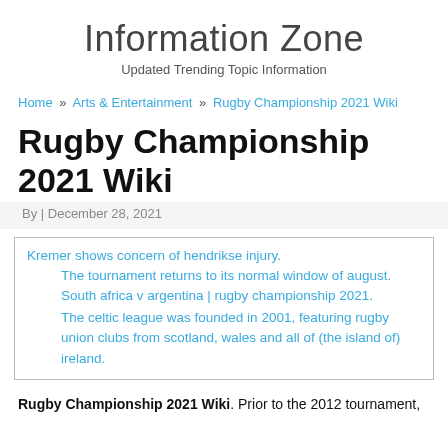Information Zone
Updated Trending Topic Information
Home » Arts & Entertainment » Rugby Championship 2021 Wiki
Rugby Championship 2021 Wiki
By | December 28, 2021
Kremer shows concern of hendrikse injury.
The tournament returns to its normal window of august.
South africa v argentina | rugby championship 2021.
The celtic league was founded in 2001, featuring rugby union clubs from scotland, wales and all of (the island of) ireland.
Rugby Championship 2021 Wiki. Prior to the 2012 tournament,